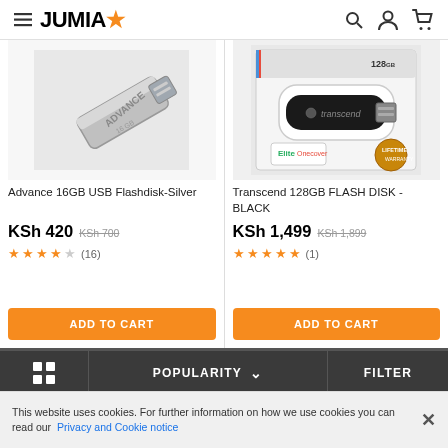JUMIA
[Figure (photo): Advance 16GB USB flash drive silver metallic color close-up photo]
Advance 16GB USB Flashdisk-Silver
KSh 420  KSh 700
★★★★☆ (16)
ADD TO CART
[Figure (photo): Transcend 128GB USB flash disk black color in retail packaging]
Transcend 128GB FLASH DISK - BLACK
KSh 1,499  KSh 1,899
★★★★★ (1)
ADD TO CART
POPULARITY  ∨     FILTER
This website uses cookies. For further information on how we use cookies you can read our Privacy and Cookie notice